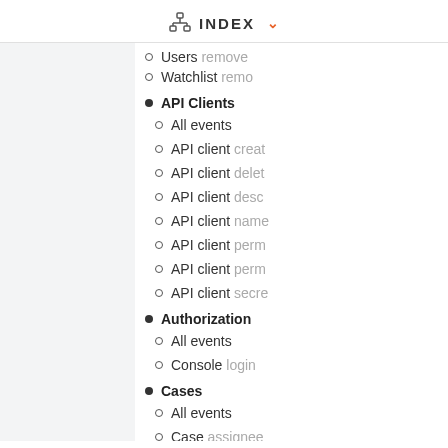INDEX
Users remove
Watchlist remo
API Clients
All events
API client creat
API client delet
API client desc
API client name
API client perm
API client perm
API client secre
Authorization
All events
Console login
Cases
All events
Case assignee
Case closed